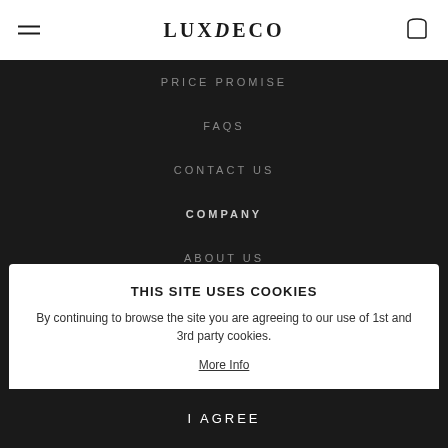LUXDECO
PRICE PROMISE
FAQS
CONTACT US
COMPANY
ABOUT US
DIVERSITY & INCLUSION
THIS SITE USES COOKIES
By continuing to browse the site you are agreeing to our use of 1st and 3rd party cookies.
More Info
I AGREE